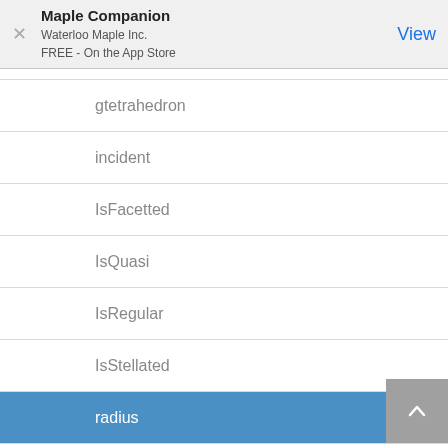Maple Companion
Waterloo Maple Inc.
FREE - On the App Store
gtetrahedron
incident
IsFacetted
IsQuasi
IsRegular
IsStellated
radius
RegularPolyhedron
schlafli